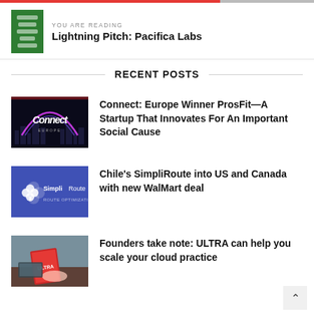YOU ARE READING
Lightning Pitch: Pacifica Labs
RECENT POSTS
[Figure (photo): Connect Europe event logo with city skyline and glowing arc, dark background]
Connect: Europe Winner ProsFit—A Startup That Innovates For An Important Social Cause
[Figure (logo): SimpliRoute logo on purple background with white leaf icon]
Chile's SimpliRoute into US and Canada with new WalMart deal
[Figure (photo): Person looking at magazine or book with red cover]
Founders take note: ULTRA can help you scale your cloud practice